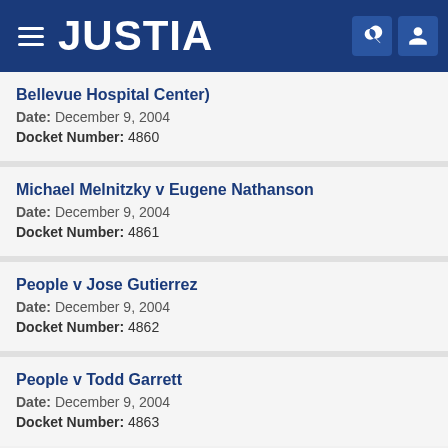JUSTIA
Bellevue Hospital Center)
Date: December 9, 2004
Docket Number: 4860
Michael Melnitzky v Eugene Nathanson
Date: December 9, 2004
Docket Number: 4861
People v Jose Gutierrez
Date: December 9, 2004
Docket Number: 4862
People v Todd Garrett
Date: December 9, 2004
Docket Number: 4863